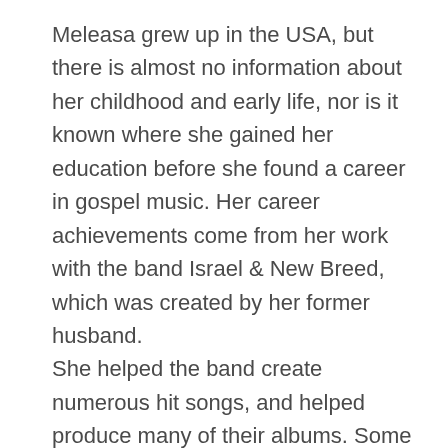Meleasa grew up in the USA, but there is almost no information about her childhood and early life, nor is it known where she gained her education before she found a career in gospel music. Her career achievements come from her work with the band Israel & New Breed, which was created by her former husband. She helped the band create numerous hit songs, and helped produce many of their albums. Some of her contributions to the band include “Rez Power”, “Jesus at the Center”, and “Our Presence”. Her husband has also been credited for singing, and